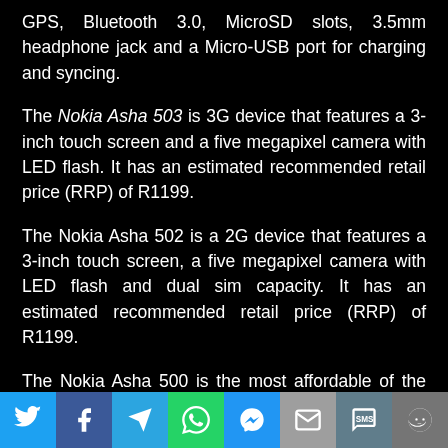GPS, Bluetooth 3.0, MicroSD slots, 3.5mm headphone jack and a Micro-USB port for charging and syncing.
The Nokia Asha 503 is 3G device that features a 3-inch touch screen and a five megapixel camera with LED flash. It has an estimated recommended retail price (RRP) of R1199.
The Nokia Asha 502 is a 2G device that features a 3-inch touch screen, a five megapixel camera with LED flash and dual sim capacity. It has an estimated recommended retail price (RRP) of R1199.
The Nokia Asha 500 is the most affordable of the new phones and is a 2G device that features a 2.8-inch touch screen and a two megapixel camera. It has an estimated recommended retail price (RRP) of R899.